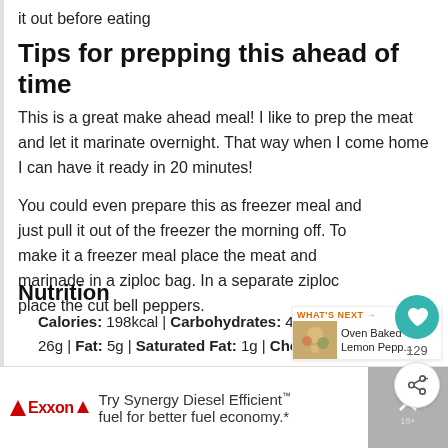it out before eating
Tips for prepping this ahead of time
This is a great make ahead meal! I like to prep the meat and let it marinate overnight. That way when I come home I can have it ready in 20 minutes!
You could even prepare this as freezer meal and just pull it out of the freezer the morning off. To make it a freezer meal place the meat and marinade in a ziploc bag. In a separate ziploc place the cut bell peppers.
Nutrition
Calories: 198kcal | Carbohydrates: 4g 26g | Fat: 5g | Saturated Fat: 1g | Cholesterol:
[Figure (screenshot): WHAT'S NEXT arrow with Oven Baked Lemon Pepp... thumbnail]
[Figure (infographic): Exxon advertisement: Try Synergy Diesel Efficient fuel for better fuel economy.*]